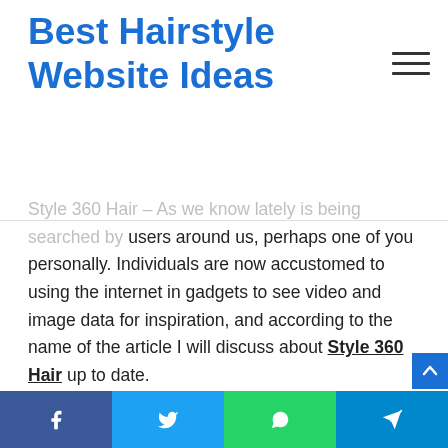Best Hairstyle Website Ideas
Style 360 Hair – As we know lately is being searched by users around us, perhaps one of you personally. Individuals are now accustomed to using the internet in gadgets to see video and image data for inspiration, and according to the name of the article I will discuss about Style 360 Hair up to date.
If you re searching for Style 360 Hair up to date you've come to the right place. We ve got 14 images about style 360 hair adding images, photos, photographs, backgrounds, and much more. In these webpage, we also provide variety of images available. Such as png, jpg, animated gifs, pic art, logo,